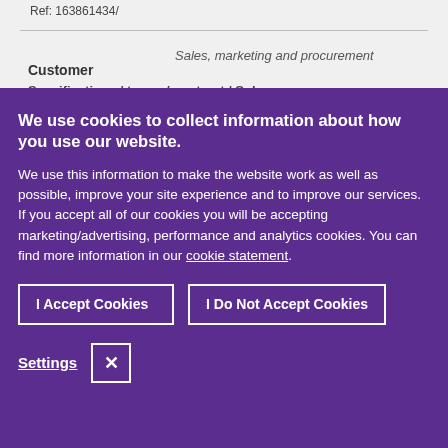Ref: 163861434/
Sales, marketing and procurement
Customer
We use cookies to collect information about how you use our website.
We use this information to make the website work as well as possible, improve your site experience and to improve our services. If you accept all of our cookies you will be accepting marketing/advertising, performance and analytics cookies. You can find more information in our cookie statement.
I Accept Cookies
I Do Not Accept Cookies
Settings